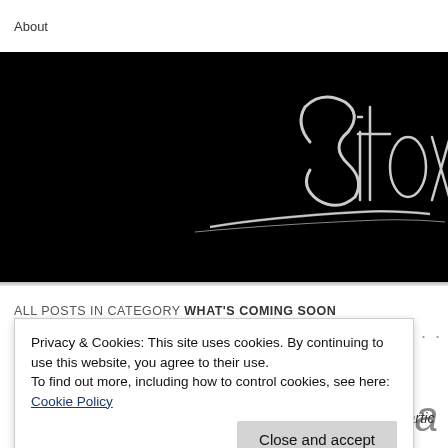About
[Figure (logo): Black banner with silver stylized 'Sitox' signature/logo text on the right side, with a metallic swoosh underline]
ALL POSTS IN CATEGORY WHAT'S COMING SOON
Privacy & Cookies: This site uses cookies. By continuing to use this website, you agree to their use.
To find out more, including how to control cookies, see here: Cookie Policy
[Close and accept button]
from Sitoxic Gaming for that month. This will include planned artic